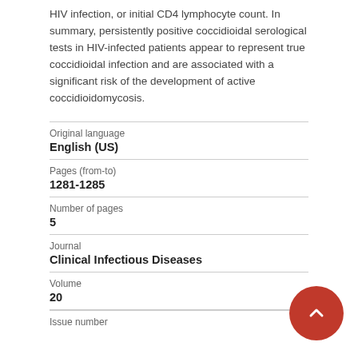HIV infection, or initial CD4 lymphocyte count. In summary, persistently positive coccidioidal serological tests in HIV-infected patients appear to represent true coccidioidal infection and are associated with a significant risk of the development of active coccidioidomycosis.
| Original language | English (US) |
| Pages (from-to) | 1281-1285 |
| Number of pages | 5 |
| Journal | Clinical Infectious Diseases |
| Volume | 20 |
| Issue number |  |